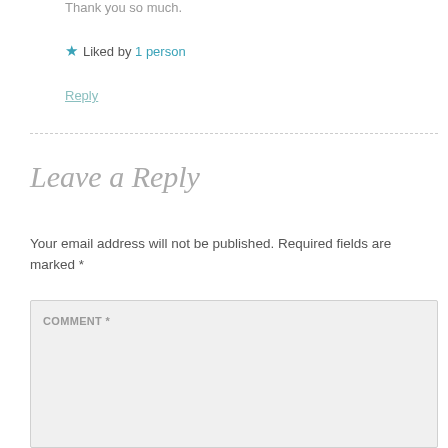Thank you so much.
★ Liked by 1 person
Reply
Leave a Reply
Your email address will not be published. Required fields are marked *
COMMENT *